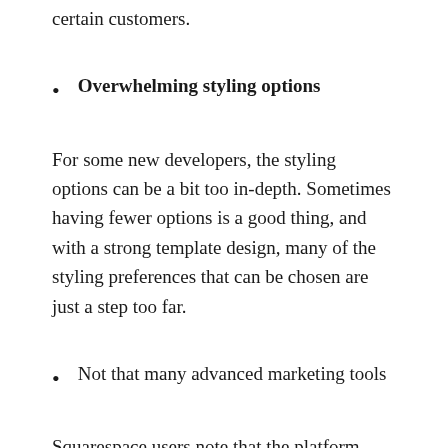certain customers.
Overwhelming styling options
For some new developers, the styling options can be a bit too in-depth. Sometimes having fewer options is a good thing, and with a strong template design, many of the styling preferences that can be chosen are just a step too far.
Not that many advanced marketing tools
Squarespace users note that the platform doesn’t allow for many advanced marketing tools. You can use some essential tools that allow you to market your website to a larger audience, but generally